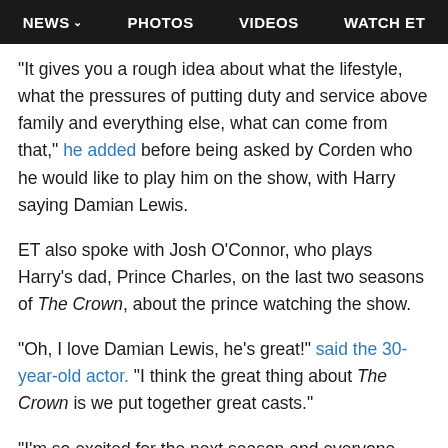NEWS  PHOTOS  VIDEOS  WATCH ET
"It gives you a rough idea about what the lifestyle, what the pressures of putting duty and service above family and everything else, what can come from that," he added before being asked by Corden who he would like to play him on the show, with Harry saying Damian Lewis.
ET also spoke with Josh O'Connor, who plays Harry's dad, Prince Charles, on the last two seasons of The Crown, about the prince watching the show.
"Oh, I love Damian Lewis, he's great!" said the 30-year-old actor. "I think the great thing about The Crown is we put together great casts."
"I'm so excited for the next season and everyone who's involved in that, and I'm sure that if it comes to Damian